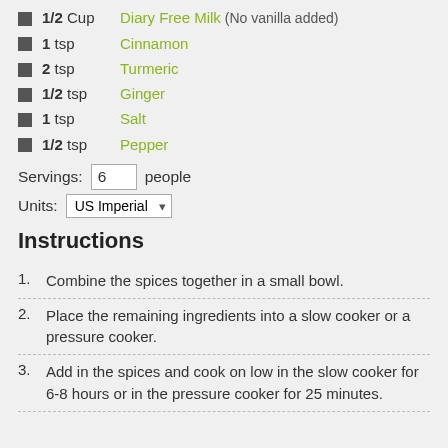1/2 Cup Diary Free Milk (No vanilla added)
1 tsp Cinnamon
2 tsp Turmeric
1/2 tsp Ginger
1 tsp Salt
1/2 tsp Pepper
Servings: 6 people
Units: US Imperial
Instructions
1. Combine the spices together in a small bowl.
2. Place the remaining ingredients into a slow cooker or a pressure cooker.
3. Add in the spices and cook on low in the slow cooker for 6-8 hours or in the pressure cooker for 25 minutes.